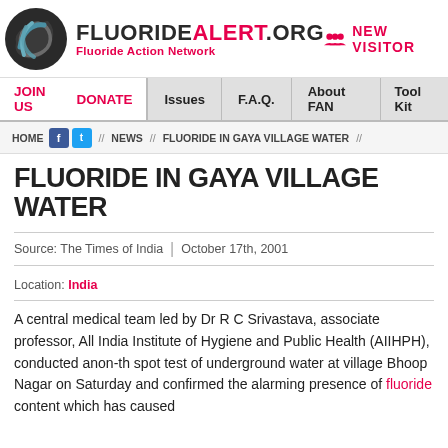[Figure (logo): FluorideAlert.org Fluoride Action Network logo with swirl graphic]
NEW VISITOR
JOIN US   DONATE   Issues   F.A.Q.   About FAN   Tool Kit
HOME // NEWS // FLUORIDE IN GAYA VILLAGE WATER //
FLUORIDE IN GAYA VILLAGE WATER
Source: The Times of India   |   October 17th, 2001
Location: India
A central medical team led by Dr R C Srivastava, associate professor, All India Institute of Hygiene and Public Health (AIIHPH), conducted anon-th spot test of underground water at village Bhoop Nagar on Saturday and confirmed the alarming presence of fluoride content which has caused